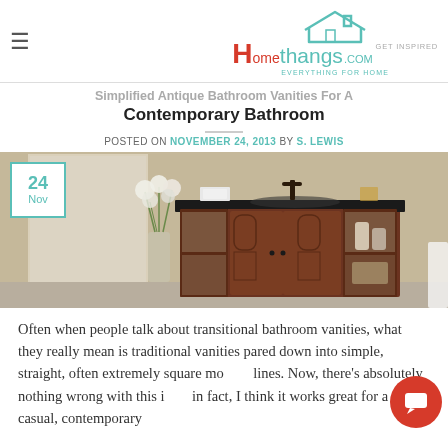Homethangs.com — GET INSPIRED, EVERYTHING FOR HOME
Simplified Antique Bathroom Vanities For A Contemporary Bathroom
POSTED ON NOVEMBER 24, 2013 BY S. LEWIS
[Figure (photo): Antique-style dark wood bathroom vanity with black granite top, arched cabinet doors, open shelves on sides, and ornate faucet, displayed with white flowers in background.]
Often when people talk about transitional bathroom vanities, what they really mean is traditional vanities pared down into simple, straight, often extremely square modern lines. Now, there's absolutely nothing wrong with this idea, in fact, I think it works great for a casual, contemporary